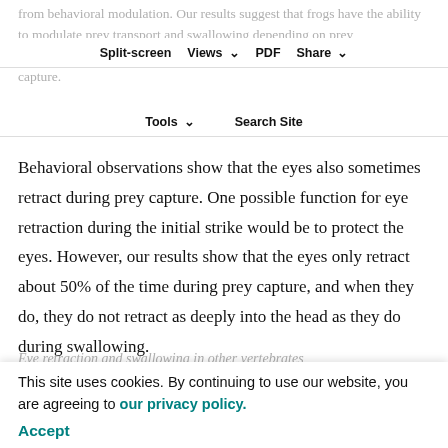from behavioral modulation. Our results suggest that frogs have the ability to modulate prey transport and swallowing depending on prey characteristics, in much the same way that they are able to modulate prey capture.
Split-screen   Views   PDF   Share   Tools   Search Site
Behavioral observations show that the eyes also sometimes retract during prey capture. One possible function for eye retraction during the initial strike would be to protect the eyes. However, our results show that the eyes only retract about 50% of the time during prey capture, and when they do, they do not retract as deeply into the head as they do during swallowing.
Eye retraction and swallowing in other vertebrates
This site uses cookies. By continuing to use our website, you are agreeing to our privacy policy. Accept dy also provides an opportunity to examine